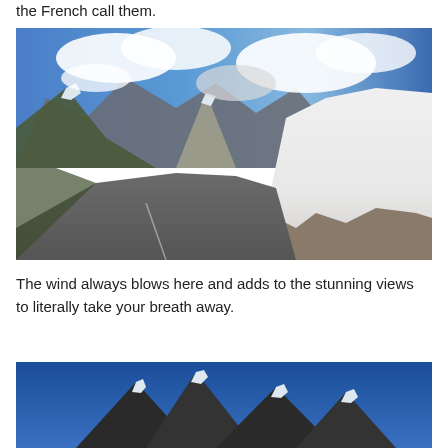the French call them.
[Figure (photo): Mountain road with tall snow banks on the right side, curving through a high alpine pass. Blue sky with large white clouds and rocky snow-capped mountains in the background.]
The wind always blows here and adds to the stunning views to literally take your breath away.
[Figure (photo): Partial view of a dark rocky mountain peak with snow patches against a deep blue sky.]